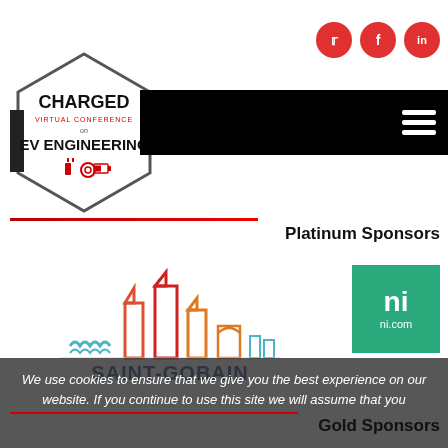[Figure (logo): Charged Virtual Conference on EV Engineering hexagon logo with red and black text and icons]
[Figure (logo): Social media icons: Twitter, Facebook, LinkedIn in red circles]
[Figure (logo): Black navigation bar with hamburger menu icon]
Platinum Sponsors
[Figure (logo): Saint-Gobain logo with colorful cityscape graphic and bold text SAINT-GOBAIN]
[Figure (logo): NI (National Instruments) logo on green background with ni.com text]
We use cookies to ensure that we give you the best experience on our website. If you continue to use this site we will assume that you are happy to accept.
Gold Sponsors